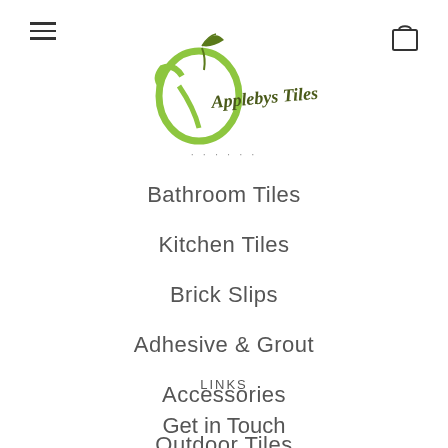[Figure (logo): Applebys Tiles logo — green apple with leaf and cursive text]
Bathroom Tiles
Kitchen Tiles
Brick Slips
Adhesive & Grout
Accessories
Outdoor Tiles
LINKS
Get in Touch
Delivery